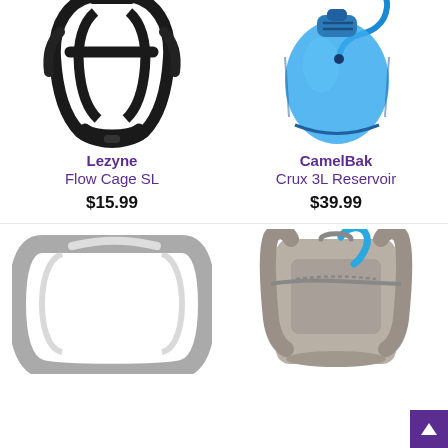[Figure (photo): Black Lezyne Flow Cage SL bicycle bottle cage on white background]
Lezyne
Flow Cage SL
$15.99
[Figure (photo): Blue CamelBak Crux 3L hydration reservoir with drinking tube on white background]
CamelBak
Crux 3L Reservoir
$39.99
[Figure (photo): Silver/grey carabiner or bike accessory, partially visible at bottom left]
[Figure (photo): Grey hydration backpack with blue tube, partially visible at bottom right]